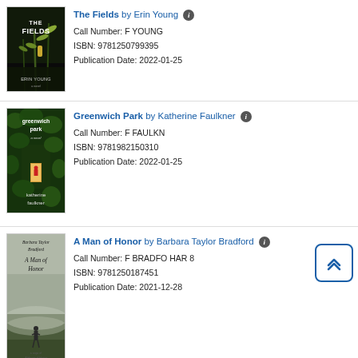[Figure (illustration): Book cover of 'The Fields' by Erin Young, showing corn stalks against a dark background with title in white bold text and author name at bottom.]
The Fields by Erin Young ℹ
Call Number: F YOUNG
ISBN: 9781250799395
Publication Date: 2022-01-25
[Figure (illustration): Book cover of 'Greenwich Park' by Katherine Faulkner, showing a green ivy-covered house with a lit doorway and red figure inside.]
Greenwich Park by Katherine Faulkner ℹ
Call Number: F FAULKN
ISBN: 9781982150310
Publication Date: 2022-01-25
[Figure (illustration): Book cover of 'A Man of Honor' by Barbara Taylor Bradford, showing a figure standing in a misty landscape with the title and author name.]
A Man of Honor by Barbara Taylor Bradford ℹ
Call Number: F BRADFO HAR 8
ISBN: 9781250187451
Publication Date: 2021-12-28